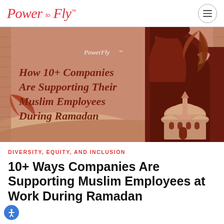PowerFly™
[Figure (illustration): Decorative banner illustration with mosque silhouette, palm leaves, crescent moon, and text reading 'PowerFly' and 'How 10+ Companies Are Supporting Their Muslim Employees During Ramadan' on a terracotta/salmon background with geometric Islamic arch motif.]
DIVERSITY, EQUITY, AND INCLUSION
10+ Ways Companies Are Supporting Muslim Employees at Work During Ramadan